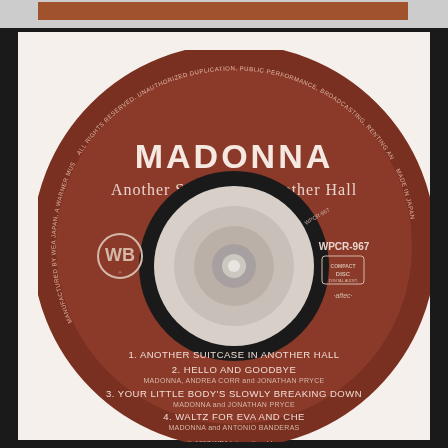[Figure (photo): CD disc label for Madonna 'Another Suitcase In Another Hall' Japanese single (WPCR-967) on Warner Bros Records. Brown/reddish-brown disc with artist name, album title, track listing including: 1. Another Suitcase In Another Hall, 2. Hello And Goodbye (Madonna, Andrea Corr and Jonathan Pryce), 3. Your Little Body's Slowly Breaking Down (Madonna and Jonathan Pryce), 4. Waltz For Eva And Che (Madonna and Antonio Banderas). P 1997 WEA International Inc.]